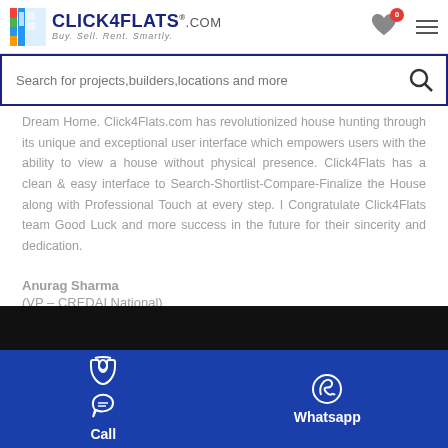Click4Flats.com — Buy. Sell. Rent. Smartly.
Search for projects,builders,locations and more
Dream Home. Click4Flats.com has revolutionized house hunting through its unique and exceptional user interface which empowers users with the ability to view a house without physical presence. Click4Flats has a clean & easy interface to Search-Shortlist-Compare-Finalize the House along with Professional Touch at every step. I Congratulate Click4Flats team Good Luck and more success in the future for their sincerity and dedication.
Anurag Sharma
(VP – CREDAI National)
[Figure (screenshot): Black video/image strip at the bottom of the content area]
Call   Whatsapp